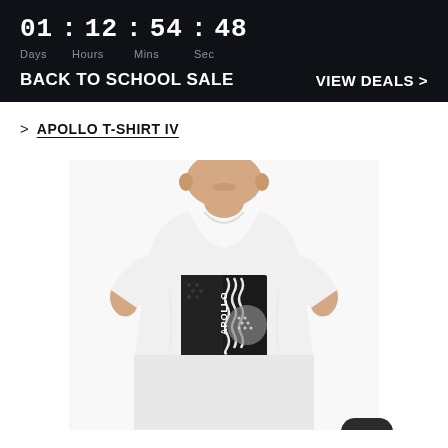01 : 12 : 54 : 48 Days Hours Mins Sec
BACK TO SCHOOL SALE
VIEW DEALS >
> APOLLO T-SHIRT IV
[Figure (photo): Man wearing a white Apollo T-Shirt IV with a black graphic print on the front, shown from waist up. A dark color swatch appears in the bottom-right corner.]